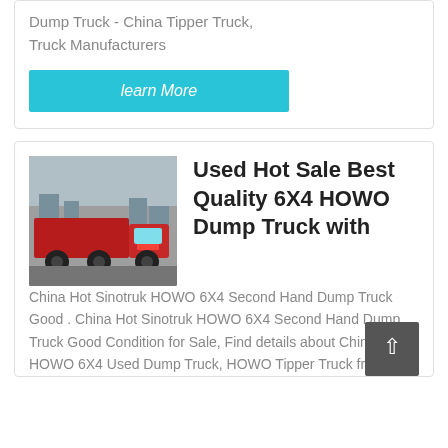Dump Truck - China Tipper Truck, Truck Manufacturers
learn More
[Figure (photo): Red HOWO dump truck / tractor unit parked in a yard]
Used Hot Sale Best Quality 6X4 HOWO Dump Truck with
China Hot Sinotruk HOWO 6X4 Second Hand Dump Truck Good . China Hot Sinotruk HOWO 6X4 Second Hand Dump Truck Good Condition for Sale, Find details about China HOWO 6X4 Used Dump Truck, HOWO Tipper Truck from ...